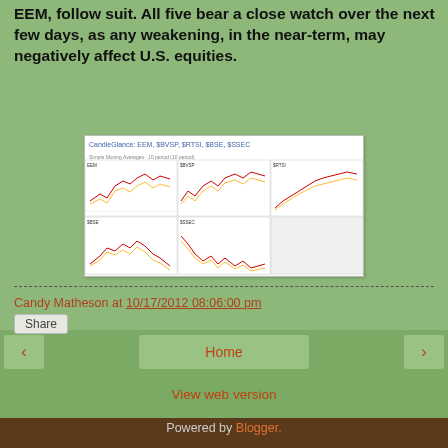EEM, follow suit. All five bear a close watch over the next few days, as any weakening, in the near-term, may negatively affect U.S. equities.
[Figure (screenshot): CandleGlance chart showing EEM, $BVSP, $RTSI, $BSE, $SSEC with moving average lines and price data panels]
Candy Matheson at 10/17/2012 08:06:00 pm
Share
Home
View web version
Powered by Blogger.